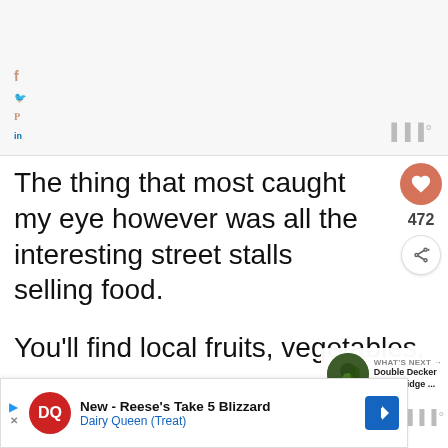[Figure (screenshot): Top advertisement/blank area of a webpage with gray background]
The thing that most caught my eye however was all the interesting street stalls selling food.
You'll find local fruits, vegetables, pan (tobacco rolled in a leaf), and pa... here
[Figure (screenshot): Advertisement banner: New - Reese's Take 5 Blizzard, Dairy Queen (Treat) with DQ logo and navigation arrow]